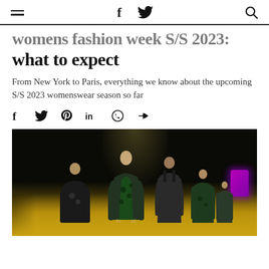≡   f  𝕥   🔍
Womens fashion week S/S 2023: what to expect
From New York to Paris, everything we know about the upcoming S/S 2023 womenswear season so far
[Figure (other): Social sharing icons: Facebook, Twitter, Pinterest, LinkedIn, WhatsApp, Share]
[Figure (photo): Fashion runway photo showing models walking on a yellow-lit runway wearing dark and green floral outfits, with a dark background and purple neon light on the right side]